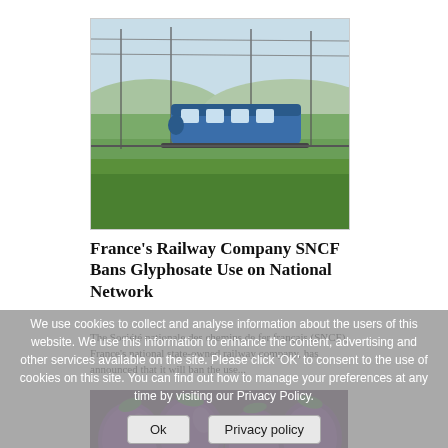[Figure (photo): A blue French TGV/regional train passing through green fields with power lines overhead and a light blue sky. Framed with a thin grey border.]
France's Railway Company SNCF Bans Glyphosate Use on National Network
The Société nationale des chemins de fer français (SNCF), France's national state-owned railway company, has announced that it will ban the use...
We use cookies to collect and analyse information about the users of this website. We use this information to enhance the content, advertising and other services available on the site. Please click 'OK' to consent to the use of cookies on this site. You can find out how to manage your preferences at any time by visiting our Privacy Policy.
[Figure (photo): Close-up photo of purple eggplants/aubergines, partially visible at the bottom of the page.]